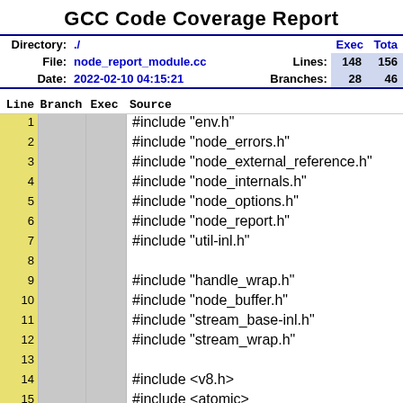GCC Code Coverage Report
|  |  |  | Exec | Total |
| --- | --- | --- | --- | --- |
| Directory: | ./ |  | Exec | Total |
| File: | node_report_module.cc | Lines: | 148 | 156 |
| Date: | 2022-02-10 04:15:21 | Branches: | 28 | 46 |
| Line | Branch | Exec | Source |
| --- | --- | --- | --- |
| 1 |  |  | #include "env.h" |
| 2 |  |  | #include "node_errors.h" |
| 3 |  |  | #include "node_external_reference.h" |
| 4 |  |  | #include "node_internals.h" |
| 5 |  |  | #include "node_options.h" |
| 6 |  |  | #include "node_report.h" |
| 7 |  |  | #include "util-inl.h" |
| 8 |  |  |  |
| 9 |  |  | #include "handle_wrap.h" |
| 10 |  |  | #include "node_buffer.h" |
| 11 |  |  | #include "stream_base-inl.h" |
| 12 |  |  | #include "stream_wrap.h" |
| 13 |  |  |  |
| 14 |  |  | #include <v8.h> |
| 15 |  |  | #include <atomic> |
| 16 |  |  | #include <sstream> |
| 17 |  |  |  |